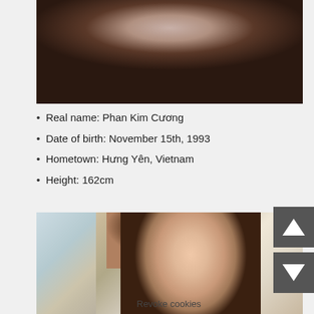[Figure (photo): Photo of a young woman lying down in dark clothing, resting on a surface, upper body view]
Real name: Phan Kim Cương
Date of birth: November 15th, 1993
Hometown: Hưng Yên, Vietnam
Height: 162cm
[Figure (photo): Photo of a young woman with long dark hair, wearing earrings, looking at camera with light background]
Revoke cookies